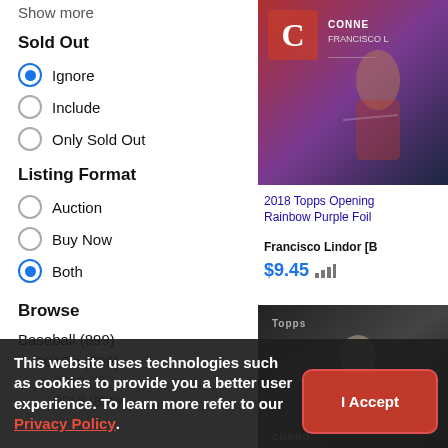Show more
Sold Out
Ignore (selected)
Include
Only Sold Out
Listing Format
Auction
Buy Now
Both (selected)
Browse
Baseball (899)
2010's (899)
2019 (9)
2018 (890)
[Figure (photo): Trading card image - 2018 Topps Opening Rainbow Purple Foil]
2018 Topps Opening Rainbow Purple Foil
Francisco Lindor [B
$9.45
[Figure (photo): Trading card image - Topps baseball card]
This website uses technologies such as cookies to provide you a better user experience. To learn more refer to our Privacy Policy .
I Accept